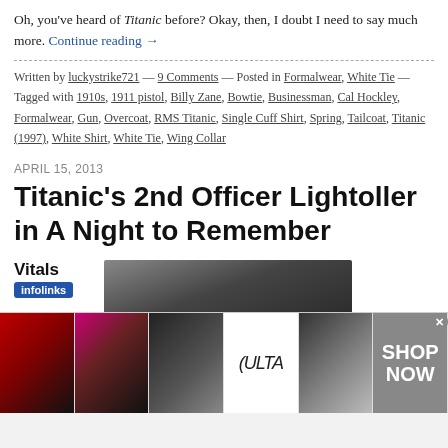Oh, you've heard of Titanic before? Okay, then, I doubt I need to say much more. Continue reading →
Written by luckystrike721 — 9 Comments — Posted in Formalwear, White Tie — Tagged with 1910s, 1911 pistol, Billy Zane, Bowtie, Businessman, Cal Hockley, Formalwear, Gun, Overcoat, RMS Titanic, Single Cuff Shirt, Spring, Tailcoat, Titanic (1997), White Shirt, White Tie, Wing Collar
APRIL 15, 2013
Titanic's 2nd Officer Lightoller in A Night to Remember
Vitals
[Figure (photo): Advertisement banner with makeup/beauty images including lips, brush, eyes, ULTA beauty logo, and SHOP NOW text]